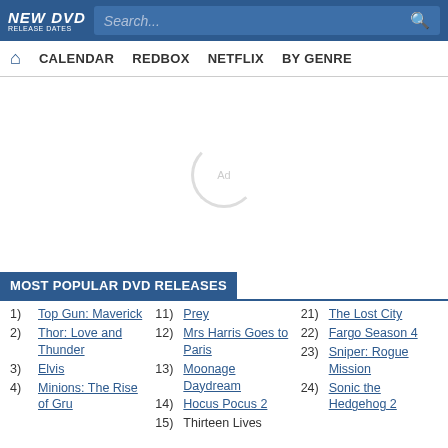NEW DVD RELEASE DATES — Search bar with navigation: CALENDAR, REDBOX, NETFLIX, BY GENRE
[Figure (other): Ad placeholder spinner circle with 'Ad' text in center]
MOST POPULAR DVD RELEASES
1) Top Gun: Maverick
2) Thor: Love and Thunder
3) Elvis
4) Minions: The Rise of Gru
11) Prey
12) Mrs Harris Goes to Paris
13) Moonage Daydream
14) Hocus Pocus 2
15) Thirteen Lives
21) The Lost City
22) Fargo Season 4
23) Sniper: Rogue Mission
24) Sonic the Hedgehog 2